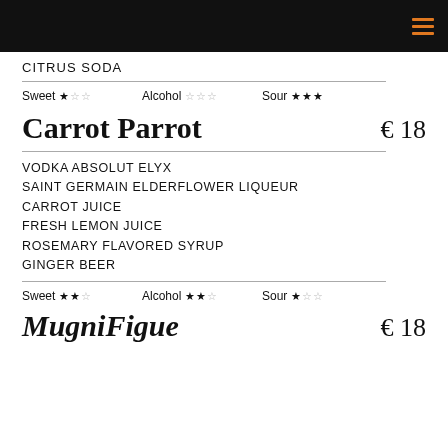CITRUS SODA
Sweet ★☆☆   Alcohol ☆☆☆   Sour ★★★
Carrot Parrot   € 18
VODKA ABSOLUT ELYX
SAINT GERMAIN ELDERFLOWER LIQUEUR
CARROT JUICE
FRESH LEMON JUICE
ROSEMARY FLAVORED SYRUP
GINGER BEER
Sweet ★★☆   Alcohol ★★☆   Sour ★☆☆
MugniFigue   € 18